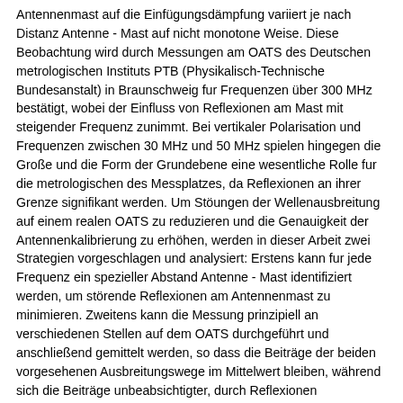Antennenmast auf die Einfügungsdämpfung variiert je nach Distanz Antenne - Mast auf nicht monotone Weise. Diese Beobachtung wird durch Messungen am OATS des Deutschen metrologischen Instituts PTB (Physikalisch-Technische Bundesanstalt) in Braunschweig fur Frequenzen über 300 MHz bestätigt, wobei der Einfluss von Reflexionen am Mast mit steigender Frequenz zunimmt. Bei vertikaler Polarisation und Frequenzen zwischen 30 MHz und 50 MHz spielen hingegen die Große und die Form der Grundebene eine wesentliche Rolle fur die metrologischen des Messplatzes, da Reflexionen an ihrer Grenze signifikant werden. Um Stöungen der Wellenausbreitung auf einem realen OATS zu reduzieren und die Genauigkeit der Antennenkalibrierung zu erhöhen, werden in dieser Arbeit zwei Strategien vorgeschlagen und analysiert: Erstens kann fur jede Frequenz ein spezieller Abstand Antenne - Mast identifiziert werden, um störende Reflexionen am Antennenmast zu minimieren. Zweitens kann die Messung prinzipiell an verschiedenen Stellen auf dem OATS durchgeführt und anschließend gemittelt werden, so dass die Beiträge der beiden vorgesehenen Ausbreitungswege im Mittelwert bleiben, während sich die Beiträge unbeabsichtigter, durch Reflexionen hervorgerufener Ausbreitungswege als Folge von destruktiven Interferenzen aufheben. Es kann gezeigt werden, dass diese Methode in bestimmten Situationen gut funktioniert. Dieser Ansatz wird auch durch Messungen validiert. Darüber hinaus wurde ein Faktormodell betrachtet, das einzeln berechnete Effekte